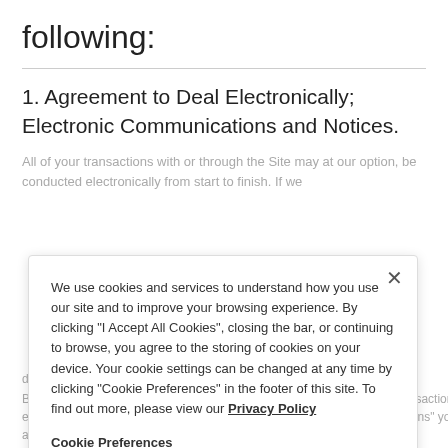following:
1. Agreement to Deal Electronically; Electronic Communications and Notices.
All of your transactions with or through the Site may at our option, be conducted electronically from start to finish. If we... (blurred background text)
We use cookies and services to understand how you use our site and to improve your browsing experience. By clicking "I Accept All Cookies", closing the bar, or continuing to browse, you agree to the storing of cookies on your device. Your cookie settings can be changed at any time by clicking "Cookie Preferences" in the footer of this site. To find out more, please view our Privacy Policy
Cookie Preferences
I Accept All Cookies